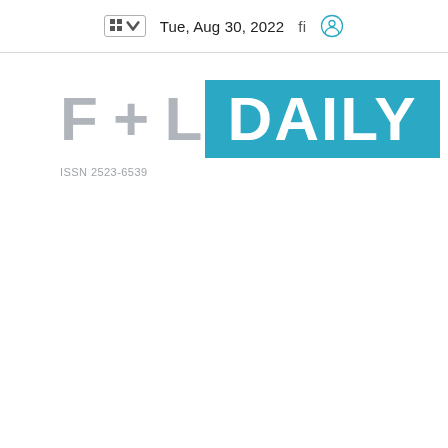Tue, Aug 30, 2022
[Figure (logo): F+L DAILY logo with gray F+L text and teal DAILY badge, ISSN 2523-6539]